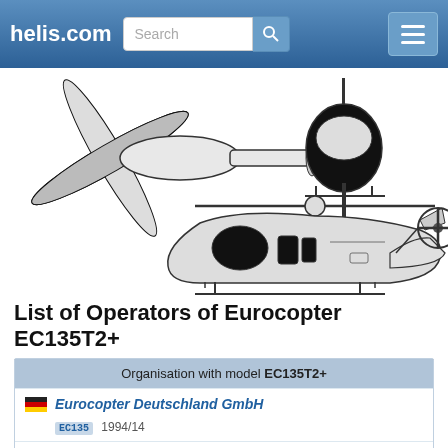helis.com
[Figure (illustration): Three-view technical line drawing of Eurocopter EC135T2+ helicopter showing top/front/side views in black and white]
List of Operators of Eurocopter EC135T2+
| Organisation with model EC135T2+ |
| --- |
| Eurocopter Deutschland GmbH | EC135 1994/14 |
| Eurocopter France |  |